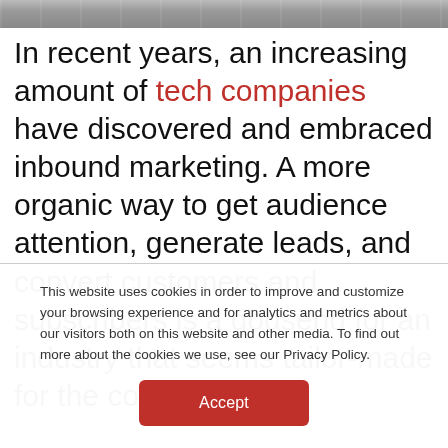[Figure (photo): Top strip showing a partial image, appears to be a dark/metallic surface with light reflections]
In recent years, an increasing amount of tech companies have discovered and embraced inbound marketing. A more organic way to get audience attention, generate leads, and convert customers and subscribers is a godsend for an industry that seems tailor-made for the concept.
This website uses cookies in order to improve and customize your browsing experience and for analytics and metrics about our visitors both on this website and other media. To find out more about the cookies we use, see our Privacy Policy.
Accept